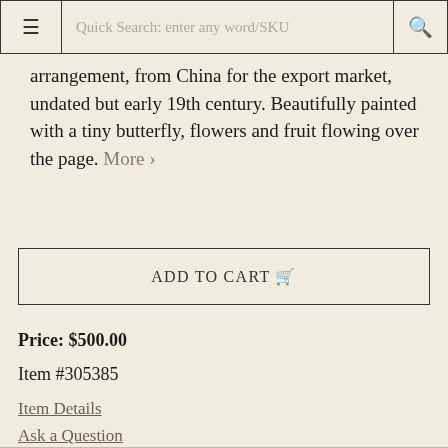Quick Search: enter any word/SKU
arrangement, from China for the export market, undated but early 19th century. Beautifully painted with a tiny butterfly, flowers and fruit flowing over the page. More >
ADD TO CART
Price: $500.00
Item #305385
Item Details
Ask a Question